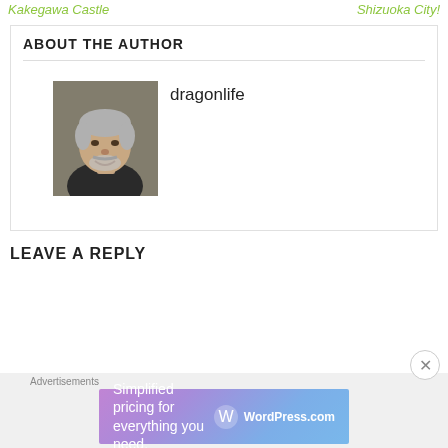Kakegawa Castle    Shizuoka City!
ABOUT THE AUTHOR
[Figure (photo): Author photo: elderly man with grey hair and beard]
dragonlife
LEAVE A REPLY
[Figure (infographic): WordPress.com advertisement banner: Simplified pricing for everything you need.]